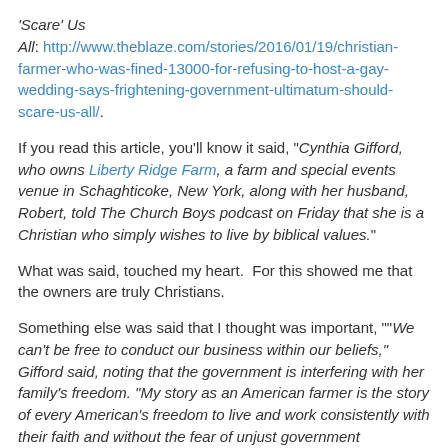'Scare' Us All: http://www.theblaze.com/stories/2016/01/19/christian-farmer-who-was-fined-13000-for-refusing-to-host-a-gay-wedding-says-frightening-government-ultimatum-should-scare-us-all/.
If you read this article, you'll know it said, "Cynthia Gifford, who owns Liberty Ridge Farm, a farm and special events venue in Schaghticoke, New York, along with her husband, Robert, told The Church Boys podcast on Friday that she is a Christian who simply wishes to live by biblical values."
What was said, touched my heart.  For this showed me that the owners are truly Christians.
Something else was said that I thought was important, ""We can't be free to conduct our business within our beliefs," Gifford said, noting that the government is interfering with her family's freedom. "My story as an American farmer is the story of every American's freedom to live and work consistently with their faith and without the fear of unjust government interference or punishment.""